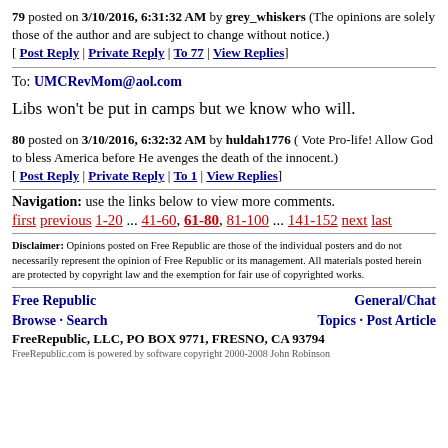79 posted on 3/10/2016, 6:31:32 AM by grey_whiskers (The opinions are solely those of the author and are subject to change without notice.) [ Post Reply | Private Reply | To 77 | View Replies]
To: UMCRevMom@aol.com
Libs won’t be put in camps but we know who will.
80 posted on 3/10/2016, 6:32:32 AM by huldah1776 ( Vote Pro-life! Allow God to bless America before He avenges the death of the innocent.) [ Post Reply | Private Reply | To 1 | View Replies]
Navigation: use the links below to view more comments. first previous 1-20 ... 41-60, 61-80, 81-100 ... 141-152 next last
Disclaimer: Opinions posted on Free Republic are those of the individual posters and do not necessarily represent the opinion of Free Republic or its management. All materials posted herein are protected by copyright law and the exemption for fair use of copyrighted works.
Free Republic Browse · Search General/Chat Topics · Post Article FreeRepublic, LLC, PO BOX 9771, FRESNO, CA 93794 FreeRepublic.com is powered by software copyright 2000-2008 John Robinson